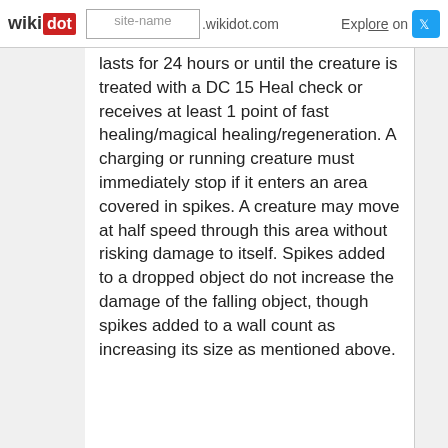wikidot | site-name .wikidot.com | Explore | Share on
lasts for 24 hours or until the creature is treated with a DC 15 Heal check or receives at least 1 point of fast healing/magical healing/regeneration. A charging or running creature must immediately stop if it enters an area covered in spikes. A creature may move at half speed through this area without risking damage to itself. Spikes added to a dropped object do not increase the damage of the falling object, though spikes added to a wall count as increasing its size as mentioned above.